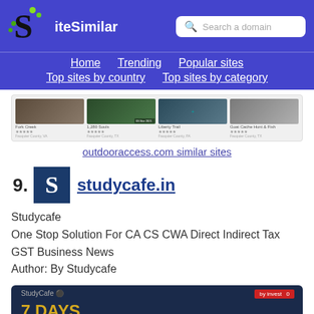SiteSimilar — Search a domain | Home | Trending | Popular sites | Top sites by country | Top sites by category
[Figure (screenshot): Thumbnail row showing four outdoor/nature trail camera images with labels and star ratings below: Fork Creek, 1,280 Souls, Liberty Trail, Goat Cache Hunt & Fish]
outdooraccess.com similar sites
29.
[Figure (logo): studycafe.in logo: white S letter on dark navy blue square background]
studycafe.in
Studycafe
One Stop Solution For CA CS CWA Direct Indirect Tax GST Business News
Author: By Studycafe
[Figure (screenshot): StudyCafe website preview showing dark navy header with '7 DAYS' text in golden/yellow color and a red 'by Invest' badge]